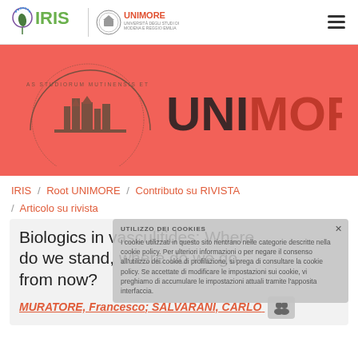[Figure (logo): IRIS logo with stylized eye/leaf icon and green IRIS text, plus UNIMORE university logo with seal and red text on right side of nav bar]
[Figure (logo): UNIMORE banner with university seal and large UNIMORE text on coral/red background]
IRIS / Root UNIMORE / Contributo su RIVISTA / Articolo su rivista
Biologics in vasculitides: Where do we stand, where do we go from now?
MURATORE, Francesco; SALVARANI, CARLO